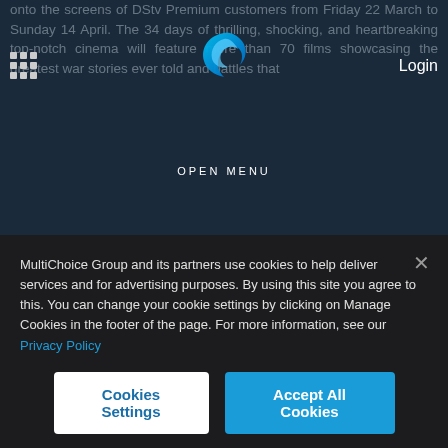[Figure (screenshot): DStv website screenshot showing navigation bar with grid icon, MultiChoice logo, Login button, OPEN MENU label, and partially visible article text about war films on DStv Premium]
shaped human history for more than two millennia. You can almost smell the cordite of the trenches, or feel the earth move as a tank brigade rumbles towards enemy lines.
MultiChoice Group and its partners use cookies to help deliver services and for advertising purposes. By using this site you agree to this. You can change your cookie settings by clicking on Manage Cookies in the footer of the page. For more information, see our Privacy Policy
Cookies Settings
Accept All Cookies